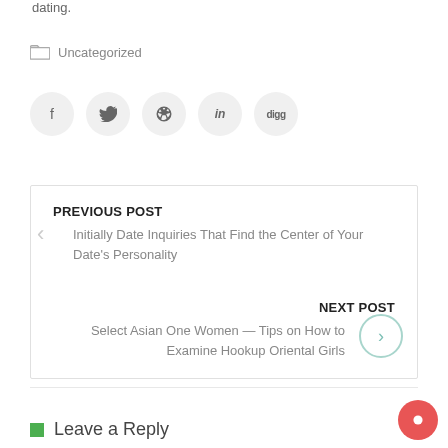dating.
Uncategorized
[Figure (other): Social sharing buttons: Facebook, Twitter, Pinterest, LinkedIn, Digg — circular grey icons in a row]
PREVIOUS POST
Initially Date Inquiries That Find the Center of Your Date's Personality
NEXT POST
Select Asian One Women — Tips on How to Examine Hookup Oriental Girls
Leave a Reply